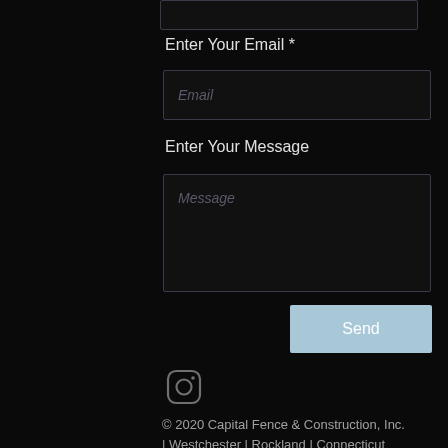Enter Your Email *
[Figure (screenshot): Email input field with placeholder text 'Email']
Enter Your Message
[Figure (screenshot): Message textarea with placeholder text 'Message']
[Figure (screenshot): Send button in light blue]
[Figure (logo): Instagram icon outline]
© 2020 Capital Fence & Construction, Inc. | Westchester | Rockland | Connecticut